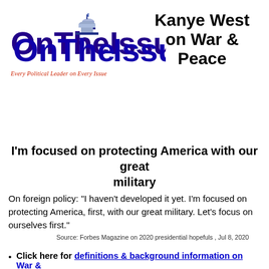[Figure (logo): OnTheIssues logo with capitol dome icon, blue text reading 'OnTheIssues', red italic tagline 'Every Political Leader on Every Issue']
Kanye West on War & Peace
I'm focused on protecting America with our great military
On foreign policy: "I haven't developed it yet. I'm focused on protecting America, first, with our great military. Let's focus on ourselves first."
Source: Forbes Magazine on 2020 presidential hopefuls , Jul 8, 2020
Click here for definitions & background information on War &